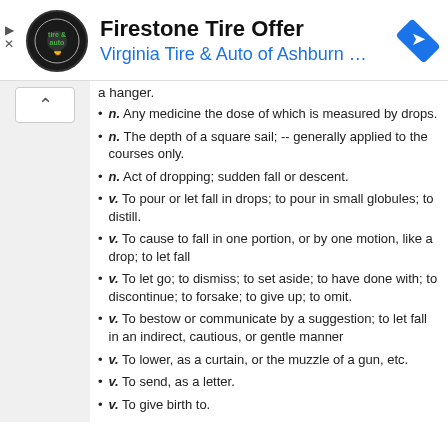[Figure (screenshot): Firestone Tire Offer advertisement banner with Virginia Tire & Auto of Ashburn logo and navigation arrow icon]
a hanger.
n. Any medicine the dose of which is measured by drops.
n. The depth of a square sail; -- generally applied to the courses only.
n. Act of dropping; sudden fall or descent.
v. To pour or let fall in drops; to pour in small globules; to distill.
v. To cause to fall in one portion, or by one motion, like a drop; to let fall
v. To let go; to dismiss; to set aside; to have done with; to discontinue; to forsake; to give up; to omit.
v. To bestow or communicate by a suggestion; to let fall in an indirect, cautious, or gentle manner
v. To lower, as a curtain, or the muzzle of a gun, etc.
v. To send, as a letter.
v. To give birth to.